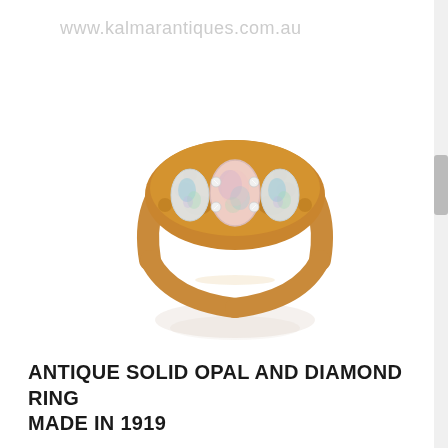www.kalmarantiques.com.au
[Figure (photo): Antique solid opal and diamond ring made in 1919. A gold ring featuring three oval opal stones (one larger pink-toned central opal flanked by two smaller blue-green opals) set in a rose/yellow gold band with small diamond accents between the stones. The ring is photographed from the front on a white background with a subtle reflection beneath.]
ANTIQUE SOLID OPAL AND DIAMOND RING MADE IN 1919
READ MORE